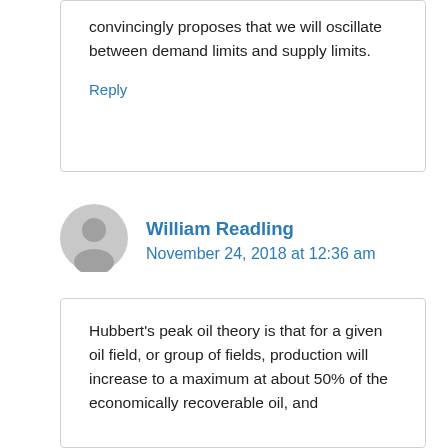convincingly proposes that we will oscillate between demand limits and supply limits.
Reply
William Readling
November 24, 2018 at 12:36 am
Hubbert's peak oil theory is that for a given oil field, or group of fields, production will increase to a maximum at about 50% of the economically recoverable oil, and